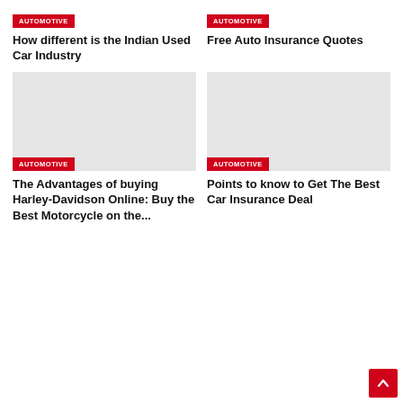[Figure (photo): Gray placeholder image for article 1]
AUTOMOTIVE
How different is the Indian Used Car Industry
[Figure (photo): Gray placeholder image for article 2]
AUTOMOTIVE
Free Auto Insurance Quotes
[Figure (photo): Gray placeholder image for article 3]
AUTOMOTIVE
The Advantages of buying Harley-Davidson Online: Buy the Best Motorcycle on the...
[Figure (photo): Gray placeholder image for article 4]
AUTOMOTIVE
Points to know to Get The Best Car Insurance Deal